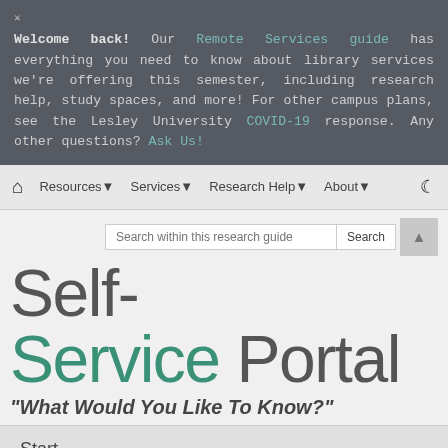Welcome back! Our Remote Services guide has everything you need to know about library services we're offering this semester, including research help, study spaces, and more! For other campus plans, see the Lesley University COVID-19 response. Any other questions? Ask Us!
Resources  Services  Research Help  About
Self-Service Portal
"What Would You Like To Know?"
Start
Table of Contents
Start Research/ Pick a Topic